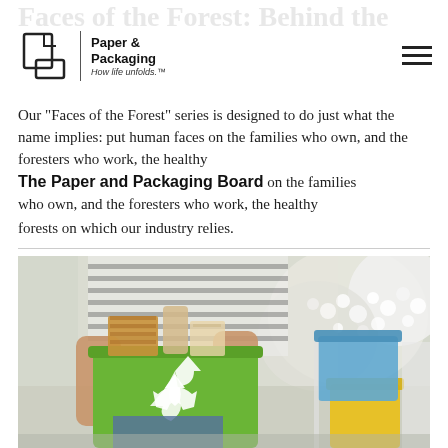Faces of the Forest: Behind the
Paper & Packaging — How life unfolds.
Our "Faces of the Forest" series is designed to do just what the name implies: put human faces on the families who own, and the foresters who work, the healthy forests on which our industry relies.
The Paper and Packaging Board
[Figure (photo): Person holding a green recycling bin filled with cardboard and paper products. In the background are yellow and blue recycling bins and white flowering plants.]